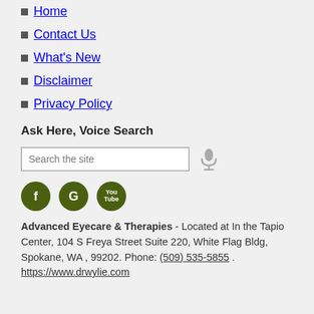Home
Contact Us
What's New
Disclaimer
Privacy Policy
Ask Here, Voice Search
[Figure (other): Search input box with placeholder 'Search the site' and a microphone icon]
[Figure (other): Three dark olive green social media icons: Facebook (f), Google (G), YouTube (You Tube)]
Advanced Eyecare & Therapies - Located at In the Tapio Center, 104 S Freya Street Suite 220, White Flag Bldg, Spokane, WA , 99202. Phone: (509) 535-5855 . https://www.drwylie.com